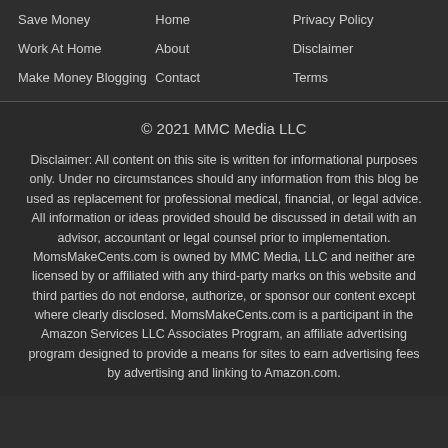Save Money
Home
Privacy Policy
Work At Home
About
Disclaimer
Make Money Blogging
Contact
Terms
© 2021 MMC Media LLC
Disclaimer: All content on this site is written for informational purposes only. Under no circumstances should any information from this blog be used as replacement for professional medical, financial, or legal advice. All information or ideas provided should be discussed in detail with an advisor, accountant or legal counsel prior to implementation. MomsMakeCents.com is owned by MMC Media, LLC and neither are licensed by or affiliated with any third-party marks on this website and third parties do not endorse, authorize, or sponsor our content except where clearly disclosed. MomsMakeCents.com is a participant in the Amazon Services LLC Associates Program, an affiliate advertising program designed to provide a means for sites to earn advertising fees by advertising and linking to Amazon.com.